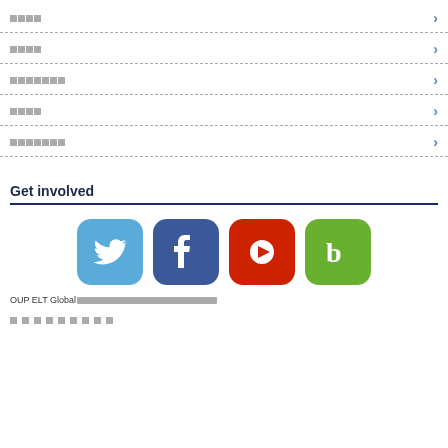████
████
███████
████
███████
Get involved
[Figure (logo): Four social media icons: Twitter (blue bird), Facebook (blue f), YouTube (red play button), Blippy (green b)]
OUP ELT Global████████████████████████████████████████████████
█████████